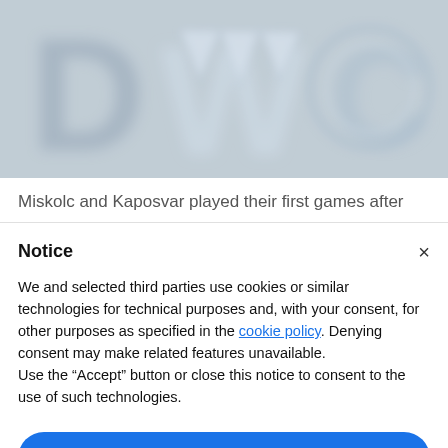[Figure (photo): A blurred sports team logo/graphic with blue and grey tones, showing stylized letters and a monster/beast mascot design on a textured background.]
Miskolc and Kaposvar played their first games after
Notice
We and selected third parties use cookies or similar technologies for technical purposes and, with your consent, for other purposes as specified in the cookie policy. Denying consent may make related features unavailable.
Use the "Accept" button or close this notice to consent to the use of such technologies.
Accept
Learn more and customize